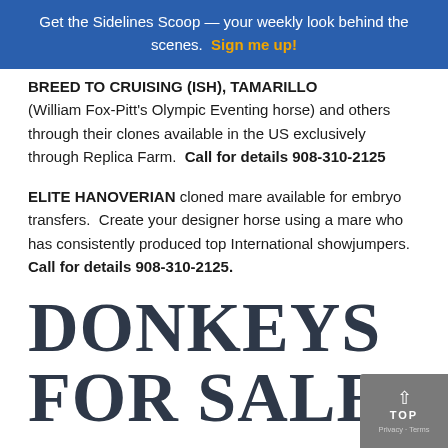Get the Sidelines Scoop — your weekly look behind the scenes. Sign me up!
BREED TO CRUISING (ISH), TAMARILLO (William Fox-Pitt's Olympic Eventing horse) and others through their clones available in the US exclusively through Replica Farm. Call for details 908-310-2125
ELITE HANOVERIAN cloned mare available for embryo transfers. Create your designer horse using a mare who has consistently produced top International showjumpers. Call for details 908-310-2125.
DONKEYS FOR SALE